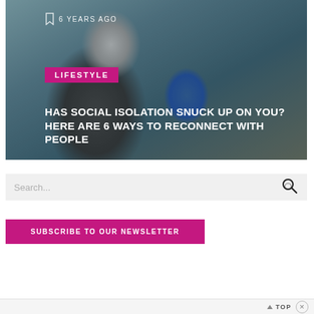[Figure (photo): Person with short gray hair looking sideways outdoors, used as hero image for lifestyle article about social isolation]
6 YEARS AGO
LIFESTYLE
HAS SOCIAL ISOLATION SNUCK UP ON YOU? HERE ARE 6 WAYS TO RECONNECT WITH PEOPLE
Search...
SUBSCRIBE TO OUR NEWSLETTER
TOP